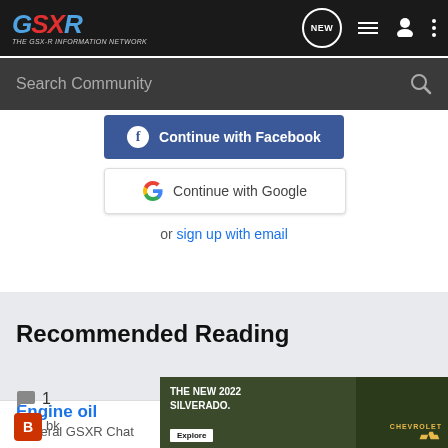GSXR Community Forum header with logo and navigation icons (NEW, list, user, menu)
Search Community
Continue with Facebook
Continue with Google
or sign up with email
Recommended Reading
Engine oil
General GSXR Chat
1 comment, bk...
[Figure (screenshot): Chevrolet Silverado 2022 advertisement banner showing a dark truck in a forest setting with text THE NEW 2022 SILVERADO., Explore button, and Chevrolet logo]